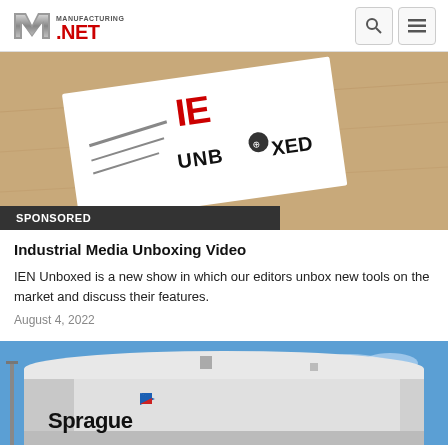Manufacturing.net logo with search and menu icons
[Figure (photo): Cardboard box with IEN Unboxed label/logo on a white card, with SPONSORED banner overlay at bottom]
SPONSORED
Industrial Media Unboxing Video
IEN Unboxed is a new show in which our editors unbox new tools on the market and discuss their features.
August 4, 2022
[Figure (photo): Sprague industrial storage tank (large white cylindrical tank) with Sprague logo and blue sky background]